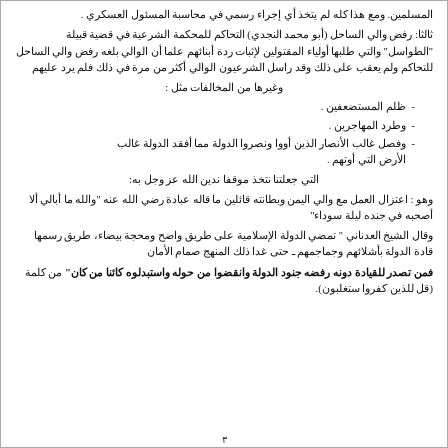المسلمين. ومع هذا كله لم يتخذ أي إجراء رسمي في محاسبة المسئول العسكري .
ثالثا: رفض والي الساحل (أبو محمد النجدي) التحاكم للمحكمة الشرعية في قضية قبيلة "الطواسل" والتي طلبها أولياء المقتولين لإثبات ردة أبنائهم علما أن الوالي بلغه رفض والي الساحل للتحاكم ولم يعقب على ذلك وقد راسل الشرعيون الوالي أكثر من مرة في ذلك فلم يرد عليهم
وغيرها من المخالفات مثل :
ظلم المستضعفين .
وطرد المهاجرين .
وفصل غالب الأنصار الذين أووا ونصروا الدولة مما أفقد الدولة غالب الأرض التي أوتهم .
التي جعلتنا نتخذ موقفا ندين الله عز وجل به:
وهو : اعتزال العمل مع والي اليمن وبطانته قائلين ما قاله عبادة رضي الله عنه "والله ما أبالي ألا أصحبه في جنده ليلة سوداء"
وقال الشيخ العدناني " تمضي الدولة الإسلامية على طريق واضح ومحجة بيضاء، طريق رسمها قادة الدولة بأشلائهم وجماجمهم ـ حتى غدا ذلك المنهج صمام الأمان
فمن تصدر للقيادة دونه رفضه جنود الدولة وانقضوا من حوله واستبدلوه كائنا من كان"  من كلمة (قل للذين كفروا ستغلبون).
٣